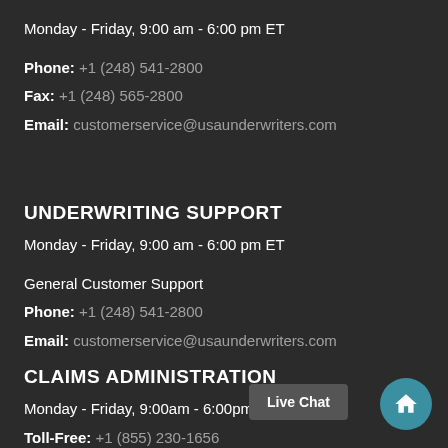Monday - Friday, 9:00 am - 6:00 pm ET
Phone: +1 (248) 541-2800
Fax: +1 (248) 565-2800
Email: customerservice@usaunderwriters.com
UNDERWRITING SUPPORT
Monday - Friday, 9:00 am - 6:00 pm ET
General Customer Support
Phone: +1 (248) 541-2800
Email: customerservice@usaunderwriters.com
CLAIMS ADMINISTRATION
Monday - Friday, 9:00am - 6:00pm ET
Toll-Free: +1 (855) 230-1656